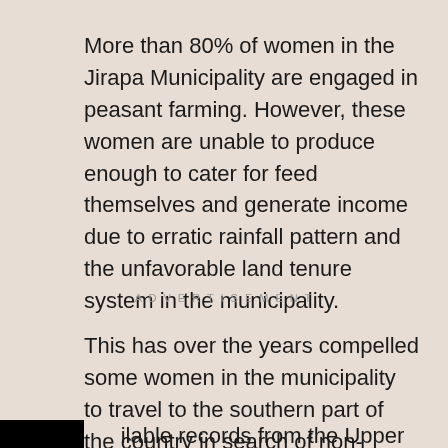More than 80% of women in the Jirapa Municipality are engaged in peasant farming. However, these women are unable to produce enough to cater for feed themselves and generate income due to erratic rainfall pattern and the unfavorable land tenure system in the municipality.
ADVERTISEMENT
This has over the years compelled some women in the municipality to travel to the southern part of the country in search of non-existent and sometimes menial jobs.
…ilable records from the Upper West Regional